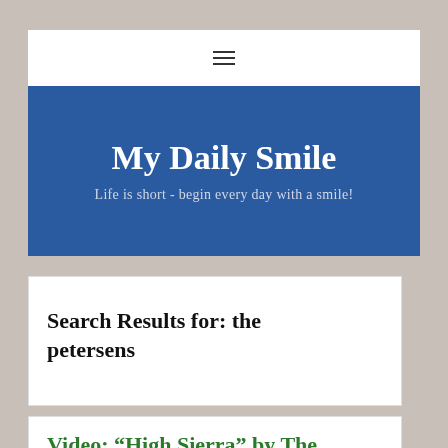☰
My Daily Smile
Life is short - begin every day with a smile!
Search Results for: the petersens
Video: “High Sierra” by The Petersens